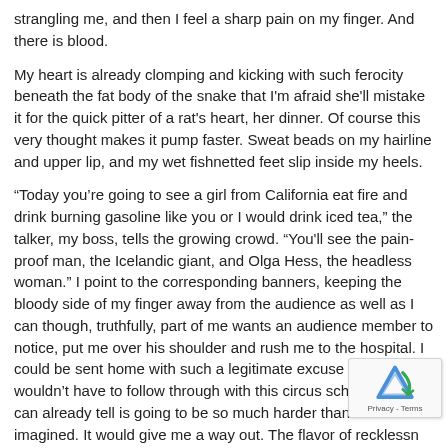strangling me, and then I feel a sharp pain on my finger. And there is blood.
My heart is already clomping and kicking with such ferocity beneath the fat body of the snake that I'm afraid she'll mistake it for the quick pitter of a rat's heart, her dinner. Of course this very thought makes it pump faster. Sweat beads on my hairline and upper lip, and my wet fishnetted feet slip inside my heels.
“Today you’re going to see a girl from California eat fire and drink burning gasoline like you or I would drink iced tea,” the talker, my boss, tells the growing crowd. “You'll see the pain-proof man, the Icelandic giant, and Olga Hess, the headless woman.” I point to the corresponding banners, keeping the bloody side of my finger away from the audience as well as I can though, truthfully, part of me wants an audience member to notice, put me over his shoulder and rush me to the hospital. I could be sent home with such a legitimate excuse and I wouldn't have to follow through with this circus scheme that I can already tell is going to be so much harder than I ever imagined. It would give me a way out. The flavor of recklessness I’m drawn to is a kind of impulsive, yes-to-the-idea sort of danger that always seems better the farther away I am from actually having to do it.